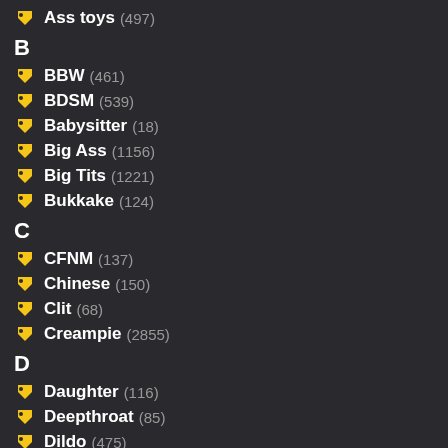Ass toys (497)
B
BBW (461)
BDSM (539)
Babysitter (18)
Big Ass (1156)
Big Tits (1221)
Bukkake (124)
C
CFNM (137)
Chinese (150)
Clit (68)
Creampie (2855)
D
Daughter (116)
Deepthroat (85)
Dildo (475)